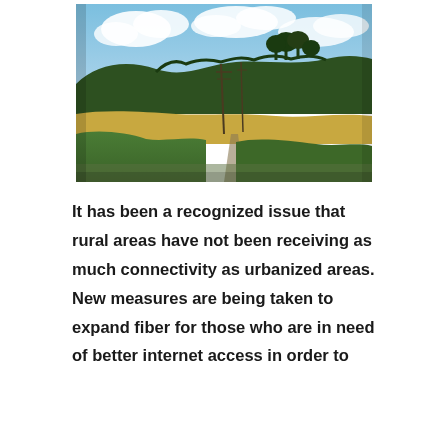[Figure (photo): Outdoor rural landscape photograph showing green hills, grassy fields with dry grass, scattered trees, utility poles along a road, and a blue sky with white clouds.]
It has been a recognized issue that rural areas have not been receiving as much connectivity as urbanized areas. New measures are being taken to expand fiber for those who are in need of better internet access in order to